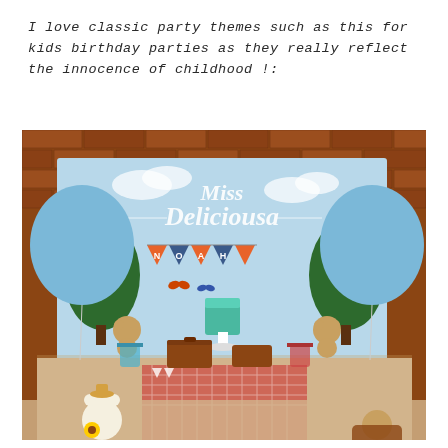I love classic party themes such as this for kids birthday parties as they really reflect the innocence of childhood !:
[Figure (photo): A children's birthday party dessert table setup against a brick wall background. Two large light blue balloons flank a decorated backdrop reading 'Miss Deliciousa' in elegant script. A banner spelling 'NOAH' in pennant flags hangs across the middle. The table is covered with a red gingham cloth and burlap, adorned with teddy bears, suitcases, candy jars, cupcakes, and a cake on a stand. Stuffed teddy bears and sunflowers are arranged in front of the table.]